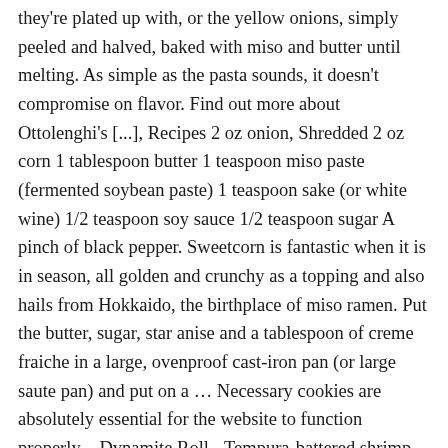they're plated up with, or the yellow onions, simply peeled and halved, baked with miso and butter until melting. As simple as the pasta sounds, it doesn't compromise on flavor. Find out more about Ottolenghi's [...], Recipes 2 oz onion, Shredded 2 oz corn 1 tablespoon butter 1 teaspoon miso paste (fermented soybean paste) 1 teaspoon sake (or white wine) 1/2 teaspoon soy sauce 1/2 teaspoon sugar A pinch of black pepper. Sweetcorn is fantastic when it is in season, all golden and crunchy as a topping and also hails from Hokkaido, the birthplace of miso ramen. Put the butter, sugar, star anise and a tablespoon of creme fraiche in a large, ovenproof cast-iron pan (or large saute pan) and put on a … Necessary cookies are absolutely essential for the website to function properly. - Dynamite Roll - Tempura-battered shrimp served over the chain's California roll and drizzled with Sriracha aioli and umami sauce. Heat your oven to 240°C fan/464°F. Heat a heavy frying pan over high heat and add the oil. Delivery & Returns But you want the halves held together by the